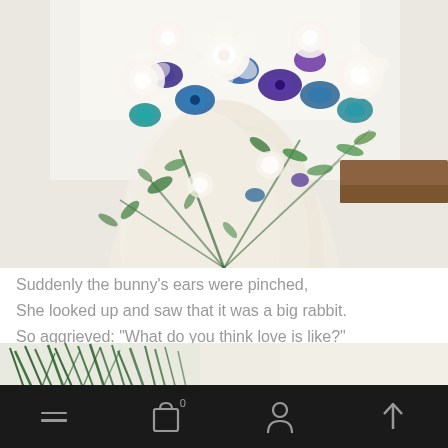[Figure (photo): Wedding bouquet with white roses and blue/purple orchids held against a cream lace wedding dress, bright window background]
Suddenly the bunny's ears were pinched,
She looked up and saw that it was a big rabbit.
So aggrieved: "What do you think love is like?"
[Figure (photo): Close-up of green pine or ornamental grass with soft light background]
Navigation bar with hamburger menu, cart (0 items), user profile, and up arrow icons